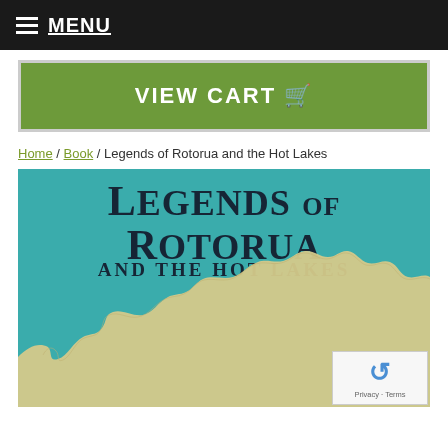MENU
VIEW CART
Home / Book / Legends of Rotorua and the Hot Lakes
[Figure (illustration): Book cover of 'Legends of Rotorua and the Hot Lakes' with teal background, bold serif title text, and a cream/beige landmass shape resembling a map at the bottom.]